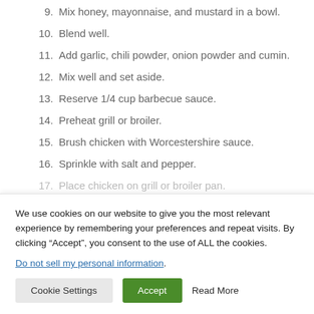9. Mix honey, mayonnaise, and mustard in a bowl.
10. Blend well.
11. Add garlic, chili powder, onion powder and cumin.
12. Mix well and set aside.
13. Reserve 1/4 cup barbecue sauce.
14. Preheat grill or broiler.
15. Brush chicken with Worcestershire sauce.
16. Sprinkle with salt and pepper.
17. Place chicken on grill or broiler pan.
We use cookies on our website to give you the most relevant experience by remembering your preferences and repeat visits. By clicking “Accept”, you consent to the use of ALL the cookies.
Do not sell my personal information.